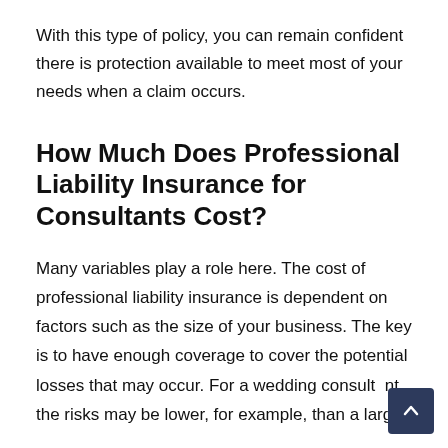With this type of policy, you can remain confident there is protection available to meet most of your needs when a claim occurs.
How Much Does Professional Liability Insurance for Consultants Cost?
Many variables play a role here. The cost of professional liability insurance is dependent on factors such as the size of your business. The key is to have enough coverage to cover the potential losses that may occur. For a wedding consultant, the risks may be lower, for example, than a large-